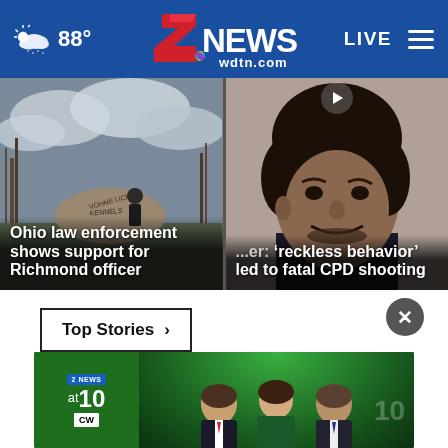88° LIVE — 2 NEWS wdtn.com
[Figure (screenshot): News article card: photo of person standing in front of Vohne Liche Kennels sign with cloudy sky background. Headline overlay: 'Ohio law enforcement shows support for Richmond officer']
[Figure (screenshot): News article card: close-up photo of young man's face. Partial headline overlay: '...er: 'reckless behavior' led to fatal CPD shooting']
Top Stories ›
[Figure (screenshot): Advertisement banner for '2 News at 10 on CW' showing three news anchors in a studio with green background lighting]